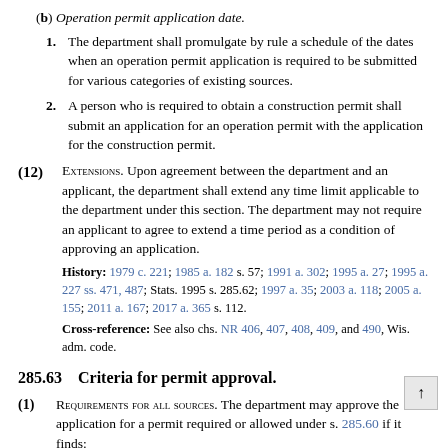(b) Operation permit application date.
1. The department shall promulgate by rule a schedule of the dates when an operation permit application is required to be submitted for various categories of existing sources.
2. A person who is required to obtain a construction permit shall submit an application for an operation permit with the application for the construction permit.
(12) EXTENSIONS. Upon agreement between the department and an applicant, the department shall extend any time limit applicable to the department under this section. The department may not require an applicant to agree to extend a time period as a condition of approving an application.
History: 1979 c. 221; 1985 a. 182 s. 57; 1991 a. 302; 1995 a. 27; 1995 a. 227 ss. 471, 487; Stats. 1995 s. 285.62; 1997 a. 35; 2003 a. 118; 2005 a. 155; 2011 a. 167; 2017 a. 365 s. 112.
Cross-reference: See also chs. NR 406, 407, 408, 409, and 490, Wis. adm. code.
285.63   Criteria for permit approval.
(1) REQUIREMENTS FOR ALL SOURCES. The department may approve the application for a permit required or allowed under s. 285.60 if it finds:
(a) Source will meet requirements. The stationary source will meet all applicable emission limitations and other requirements promulgated under this chapter, standards